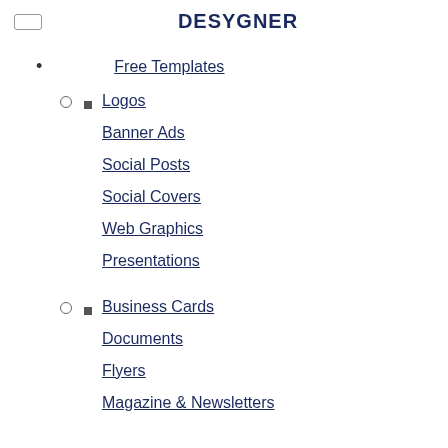DESYGNER
Free Templates
Logos
Banner Ads
Social Posts
Social Covers
Web Graphics
Presentations
Business Cards
Documents
Flyers
Magazine & Newsletters